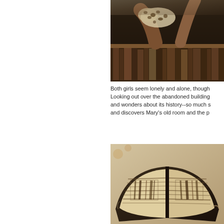[Figure (photo): Sepia-toned illustration showing hands reaching for books on a bookshelf, with a spotted/leopard print fabric visible, in a woodcut or engraving style.]
Both girls seem lonely and alone, though Looking out over the abandoned building and wonders about its history--so much s and discovers Mary's old room and the p
[Figure (photo): Sepia-toned woodcut-style illustration showing an open book with detailed engravings of interior architectural or wood-paneled scenes visible on its pages.]